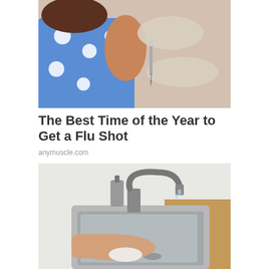[Figure (photo): A child in a blue polka-dot dress receiving a vaccination injection in the arm from a medical professional wearing latex gloves.]
The Best Time of the Year to Get a Flu Shot
anymuscle.com
[Figure (photo): A person's hand washing or rinsing something white (possibly a cloth or sponge) in a stainless steel kitchen sink with a black faucet and wooden countertop.]